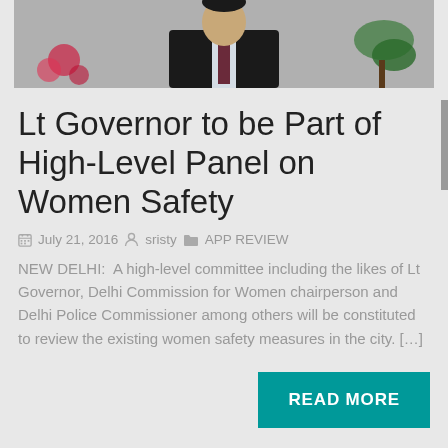[Figure (photo): Partial photo of a person in a dark suit with tie, with a plant visible in the background, cropped to show upper body only.]
Lt Governor to be Part of High-Level Panel on Women Safety
July 21, 2016  sristy  APP REVIEW
NEW DELHI:  A high-level committee including the likes of Lt Governor, Delhi Commission for Women chairperson and Delhi Police Commissioner among others will be constituted to review the existing women safety measures in the city. […]
READ MORE